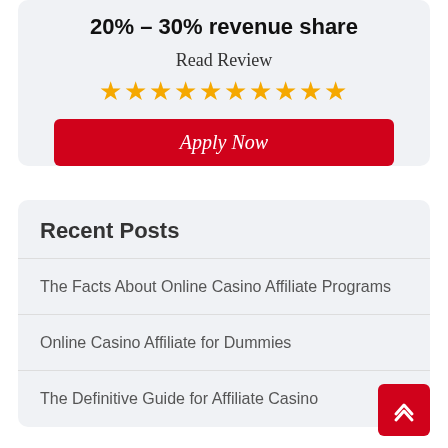20% – 30% revenue share
Read Review
[Figure (other): 10 gold star rating icons]
Apply Now
Recent Posts
The Facts About Online Casino Affiliate Programs
Online Casino Affiliate for Dummies
The Definitive Guide for Affiliate Casino